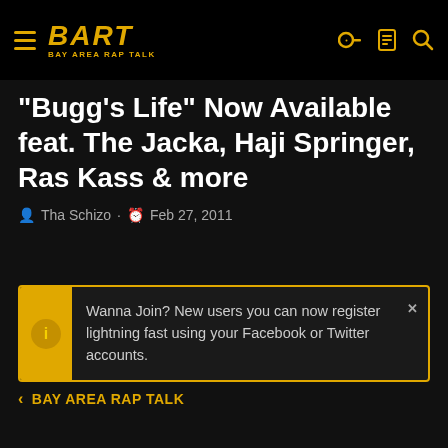BART BAY AREA RAP TALK
"Bugg's Life" Now Available feat. The Jacka, Haji Springer, Ras Kass & more
Tha Schizo · Feb 27, 2011
Wanna Join? New users you can now register lightning fast using your Facebook or Twitter accounts.
< BAY AREA RAP TALK